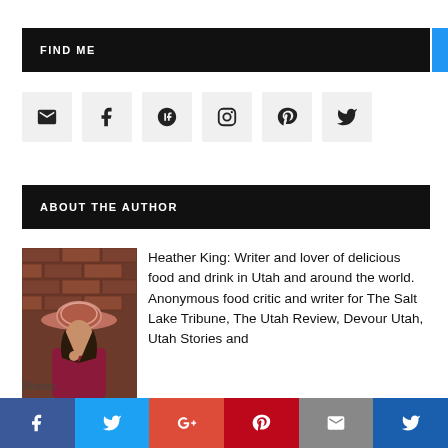FIND ME
[Figure (infographic): Row of six social media icon buttons: email envelope, Facebook f, Google+, Instagram, Pinterest, Twitter bird]
ABOUT THE AUTHOR
[Figure (photo): Woman wearing a wide-brim striped hat and red/maroon coat, looking down, standing in front of a brick wall]
Heather King: Writer and lover of delicious food and drink in Utah and around the world. Anonymous food critic and writer for The Salt Lake Tribune, The Utah Review, Devour Utah, Utah Stories and
Shares